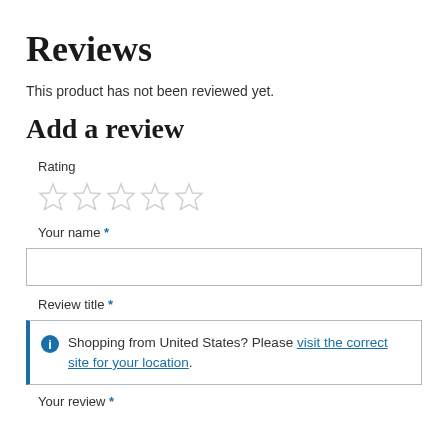Reviews
This product has not been reviewed yet.
Add a review
Rating
[Figure (other): Five empty star rating icons in a row]
Your name *
[Figure (other): Text input field for Your name]
Review title *
Shopping from United States? Please visit the correct site for your location.
Your review *